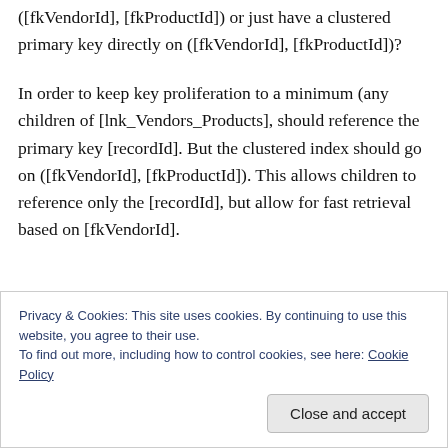([fkVendorId], [fkProductId]) or just have a clustered primary key directly on ([fkVendorId], [fkProductId])?
In order to keep key proliferation to a minimum (any children of [lnk_Vendors_Products], should reference the primary key [recordId]. But the clustered index should go on ([fkVendorId], [fkProductId]). This allows children to reference only the [recordId], but allow for fast retrieval based on [fkVendorId].
Privacy & Cookies: This site uses cookies. By continuing to use this website, you agree to their use.
To find out more, including how to control cookies, see here: Cookie Policy
Close and accept